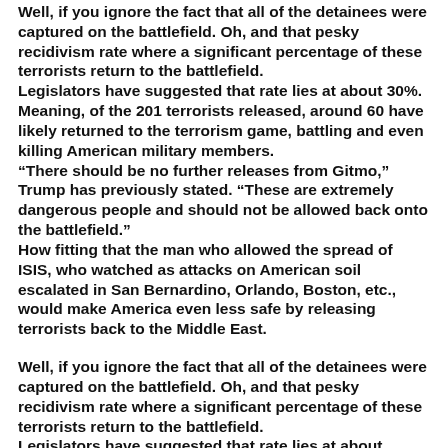Well, if you ignore the fact that all of the detainees were captured on the battlefield. Oh, and that pesky recidivism rate where a significant percentage of these terrorists return to the battlefield. Legislators have suggested that rate lies at about 30%. Meaning, of the 201 terrorists released, around 60 have likely returned to the terrorism game, battling and even killing American military members. “There should be no further releases from Gitmo,” Trump has previously stated. “These are extremely dangerous people and should not be allowed back onto the battlefield.” How fitting that the man who allowed the spread of ISIS, who watched as attacks on American soil escalated in San Bernardino, Orlando, Boston, etc., would make America even less safe by releasing terrorists back to the Middle East.
Well, if you ignore the fact that all of the detainees were captured on the battlefield. Oh, and that pesky recidivism rate where a significant percentage of these terrorists return to the battlefield. Legislators have suggested that rate lies at about 30%...